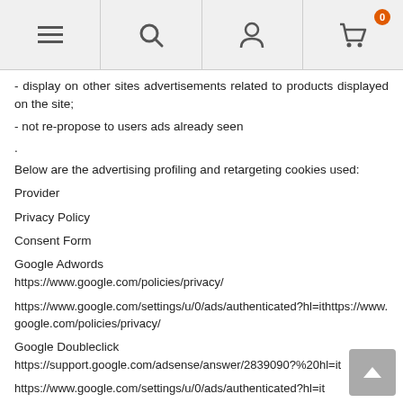Navigation header with menu, search, account, and cart icons
- display on other sites advertisements related to products displayed on the site;
- not re-propose to users ads already seen
.
Below are the advertising profiling and retargeting cookies used:
Provider
Privacy Policy
Consent Form
Google Adwords
https://www.google.com/policies/privacy/
https://www.google.com/settings/u/0/ads/authenticated?hl=ithttps://www.google.com/policies/privacy/
Google Doubleclick
https://support.google.com/adsense/answer/2839090?%20hl=it
https://www.google.com/settings/u/0/ads/authenticated?hl=it
Microsoft Bing